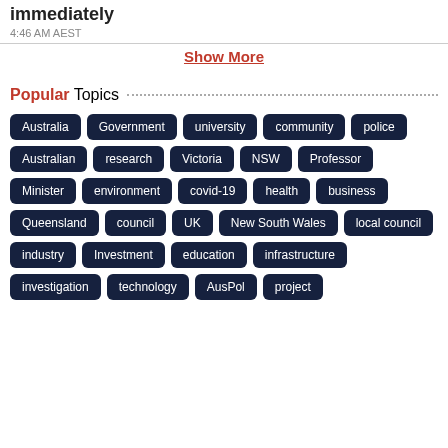immediately
4:46 AM AEST
Show More
Popular Topics
Australia
Government
university
community
police
Australian
research
Victoria
NSW
Professor
Minister
environment
covid-19
health
business
Queensland
council
UK
New South Wales
local council
industry
Investment
education
infrastructure
investigation
technology
AusPol
project